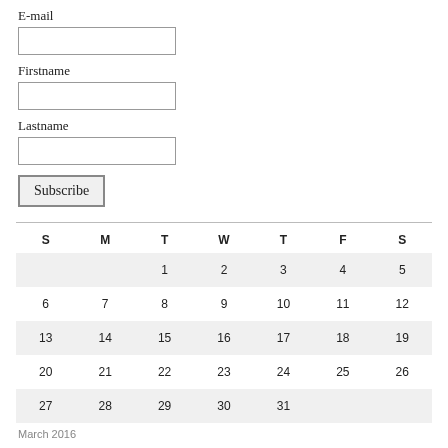E-mail
Firstname
Lastname
Subscribe
| S | M | T | W | T | F | S |
| --- | --- | --- | --- | --- | --- | --- |
|  |  | 1 | 2 | 3 | 4 | 5 |
| 6 | 7 | 8 | 9 | 10 | 11 | 12 |
| 13 | 14 | 15 | 16 | 17 | 18 | 19 |
| 20 | 21 | 22 | 23 | 24 | 25 | 26 |
| 27 | 28 | 29 | 30 | 31 |  |  |
March 2016